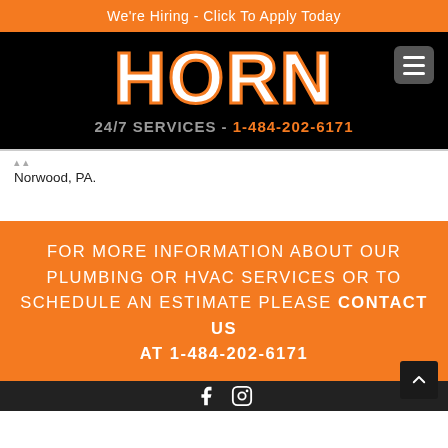We're Hiring - Click To Apply Today
HORN
24/7 SERVICES - 1-484-202-6171
Norwood, PA.
FOR MORE INFORMATION ABOUT OUR PLUMBING OR HVAC SERVICES OR TO SCHEDULE AN ESTIMATE PLEASE CONTACT US AT 1-484-202-6171